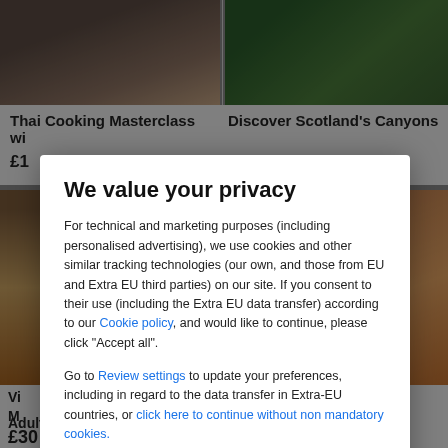[Figure (screenshot): Background website showing food and travel experiences with photos and pricing, partially obscured by a privacy consent modal overlay]
We value your privacy
For technical and marketing purposes (including personalised advertising), we use cookies and other similar tracking technologies (our own, and those from EU and Extra EU third parties) on our site. If you consent to their use (including the Extra EU data transfer) according to our Cookie policy, and would like to continue, please click "Accept all".
Go to Review settings to update your preferences, including in regard to the data transfer in Extra-EU countries, or click here to continue without non mandatory cookies.
ACCEPT ALL